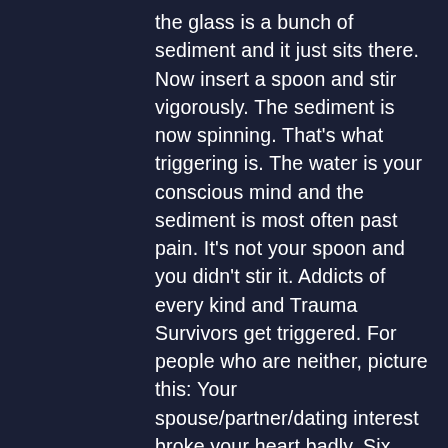the glass is a bunch of sediment and it just sits there. Now insert a spoon and stir vigorously. The sediment is now spinning. That's what triggering is. The water is your conscious mind and the sediment is most often past pain. It's not your spoon and you didn't stir it. Addicts of every kind and Trauma Survivors get triggered. For people who are neither, picture this: Your spouse/partner/dating interest broke your heart badly. Six months later you think you're over it and a song comes on the radio that reminds you of them and you start sobbing uncontrollably. Hopefully you feel better after you cry – good chance that doing so released some more sediment and you're healthier